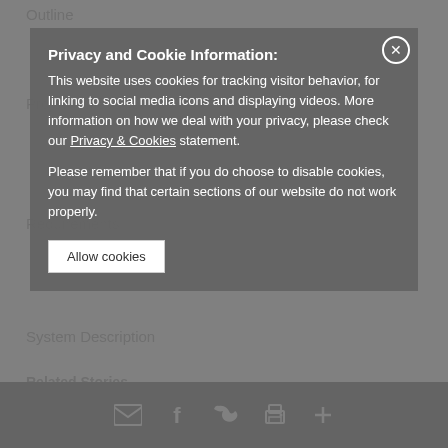Outline
Project Infrastructure
Requirements
System Description
Implementation
Privacy and Cookie Information:
This website uses cookies for tracking visitor behavior, for linking to social media icons and displaying videos. More information on how we deal with your privacy, please check our Privacy & Cookies statement.
Please remember that if you do choose to disable cookies, you may find that certain sections of our website do not work properly.
Allow cookies
System Diagram
Conclusion
Related Products
Related Stories
[Figure (other): Social sharing icons: email, facebook, twitter, print, more]